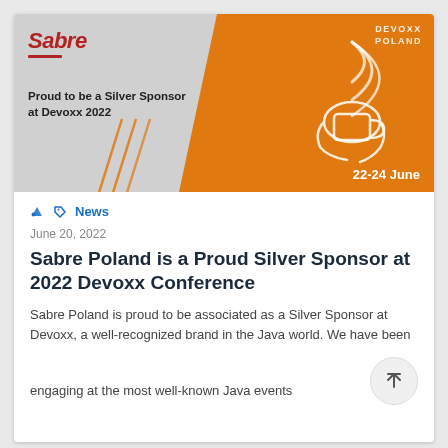[Figure (illustration): Banner image with Sabre logo on grey background left side, orange diagonal section right side with DEVOXX POLAND text, white line-art illustration of a person holding a coffee cup with WiFi signals, and '22-24 June' date label. Diagonal orange accent lines on left side of banner.]
🏷 News
June 20, 2022
Sabre Poland is a Proud Silver Sponsor at 2022 Devoxx Conference
Sabre Poland is proud to be associated as a Silver Sponsor at Devoxx, a well-recognized brand in the Java world. We have been engaging at the most well-known Java events